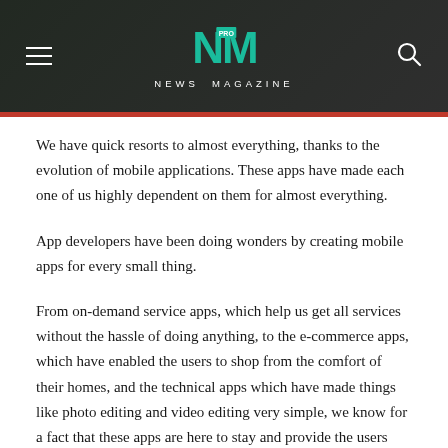NM PRO NEWS MAGAZINE
We have quick resorts to almost everything, thanks to the evolution of mobile applications. These apps have made each one of us highly dependent on them for almost everything.
App developers have been doing wonders by creating mobile apps for every small thing.
From on-demand service apps, which help us get all services without the hassle of doing anything, to the e-commerce apps, which have enabled the users to shop from the comfort of their homes, and the technical apps which have made things like photo editing and video editing very simple, we know for a fact that these apps are here to stay and provide the users with best solutions to all their problems.